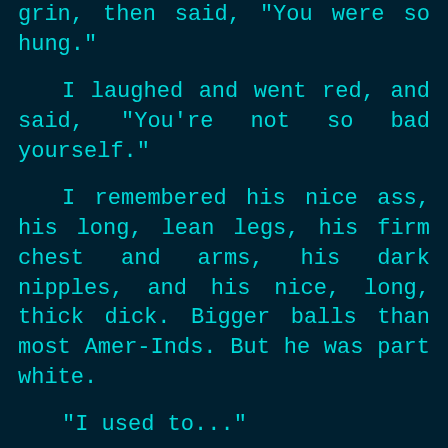grin, then said, "You were so hung."
I laughed and went red, and said, "You're not so bad yourself."
I remembered his nice ass, his long, lean legs, his firm chest and arms, his dark nipples, and his nice, long, thick dick. Bigger balls than most Amer-Inds. But he was part white.
"I used to..."
I waited to see if he was going to finish the sentence. He toyed with his silverware.
"Used to think about you. What I saw in the showers."
I sort of squirmed in my seat. I'd jerked off thinking about him a few times. Like I said, I